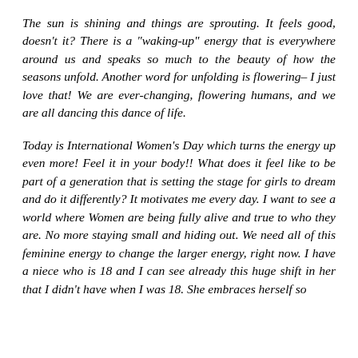The sun is shining and things are sprouting. It feels good, doesn't it? There is a "waking-up" energy that is everywhere around us and speaks so much to the beauty of how the seasons unfold. Another word for unfolding is flowering– I just love that! We are ever-changing, flowering humans, and we are all dancing this dance of life.
Today is International Women's Day which turns the energy up even more! Feel it in your body!! What does it feel like to be part of a generation that is setting the stage for girls to dream and do it differently? It motivates me every day. I want to see a world where Women are being fully alive and true to who they are. No more staying small and hiding out. We need all of this feminine energy to change the larger energy, right now. I have a niece who is 18 and I can see already this huge shift in her that I didn't have when I was 18. She embraces herself so...